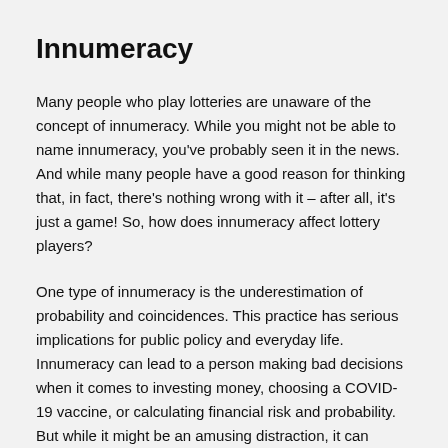Innumeracy
Many people who play lotteries are unaware of the concept of innumeracy. While you might not be able to name innumeracy, you've probably seen it in the news. And while many people have a good reason for thinking that, in fact, there's nothing wrong with it – after all, it's just a game! So, how does innumeracy affect lottery players?
One type of innumeracy is the underestimation of probability and coincidences. This practice has serious implications for public policy and everyday life. Innumeracy can lead to a person making bad decisions when it comes to investing money, choosing a COVID-19 vaccine, or calculating financial risk and probability. But while it might be an amusing distraction, it can actually lead to bad decisions that can have serious…